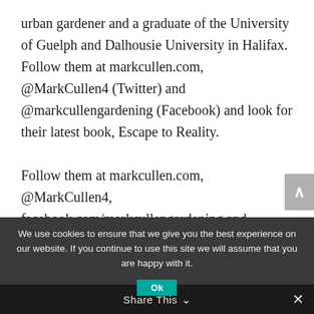urban gardener and a graduate of the University of Guelph and Dalhousie University in Halifax. Follow them at markcullen.com, @MarkCullen4 (Twitter) and @markcullengardening (Facebook) and look for their latest book, Escape to Reality.

Follow them at markcullen.com, @MarkCullen4, facebook.com/markcullengardening and biweekly on Global TV's national morning show, The Morning Sho...
We use cookies to ensure that we give you the best experience on our website. If you continue to use this site we will assume that you are happy with it.
Share This